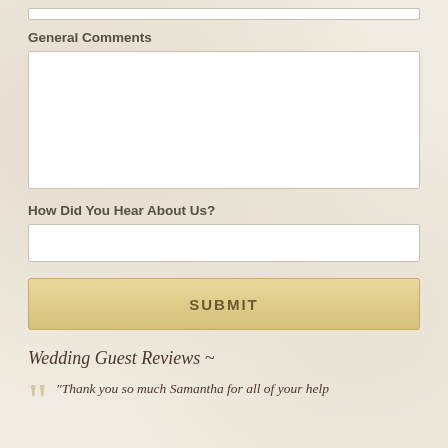General Comments
How Did You Hear About Us?
SUBMIT
Wedding Guest Reviews ~
"Thank you so much Samantha for all of your help